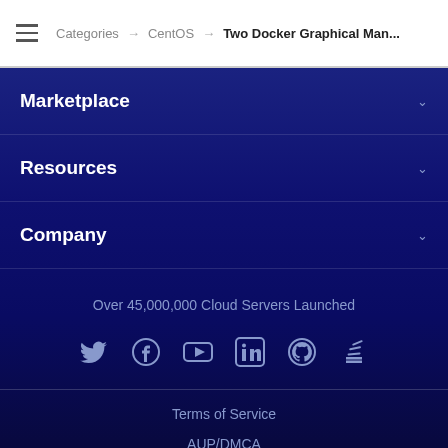Categories → CentOS → Two Docker Graphical Man...
Marketplace
Resources
Company
Over 45,000,000 Cloud Servers Launched
[Figure (infographic): Social media icons row: Twitter, Facebook, YouTube, LinkedIn, GitHub, Stack Overflow]
Terms of Service
AUP/DMCA